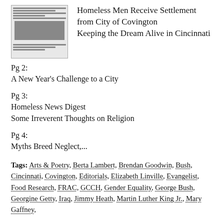[Figure (other): Thumbnail image of a newspaper page with text columns and a photograph of people]
Homeless Men Receive Settlement from City of Covington
Keeping the Dream Alive in Cincinnati
Pg 2:
A New Year's Challenge to a City
Pg 3:
Homeless News Digest
Some Irreverent Thoughts on Religion
Pg 4:
Myths Breed Neglect,...
Tags: Arts & Poetry, Berta Lambert, Brendan Goodwin, Bush, Cincinnati, Covington, Editorials, Elizabeth Linville, Evangelist, Food Research, FRAC, GCCH, Gender Equality, George Bush, Georgine Getty, Iraq, Jimmy Heath, Martin Luther King Jr., Mary Gaffney,